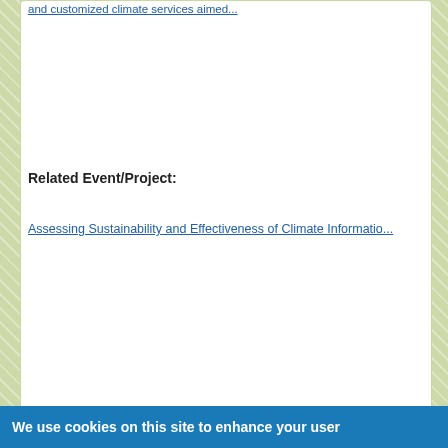and customized climate services aimed...
Related Event/Project:
Assessing Sustainability and Effectiveness of Climate Informatio...
Please send comments, suggestions or feedback through our c...
Global Framework for Clim...
Tel: (+41 22) 730-8579 Fax: 730-803...
7 bis, avenue de la Paix – P.O. Box 2300 –...
We use cookies on this site to enhance your user